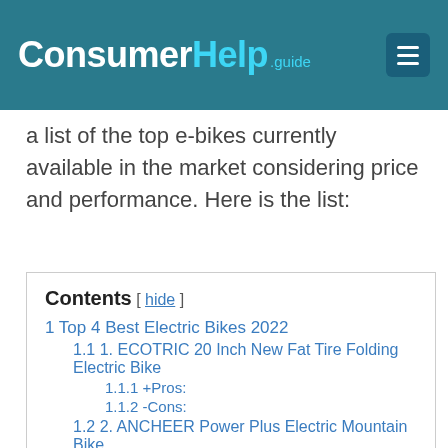ConsumerHelp.guide
a list of the top e-bikes currently available in the market considering price and performance. Here is the list:
| 1 Top 4 Best Electric Bikes 2022 |
| 1.1 1. ECOTRIC 20 Inch New Fat Tire Folding Electric Bike |
| 1.1.1 +Pros: |
| 1.1.2 -Cons: |
| 1.2 2. ANCHEER Power Plus Electric Mountain Bike |
| 1.2.1 +Pros: |
| 1.2.2 -Cons: |
| 1.3 3. Nakto 26 Inch 250W Cargo- |